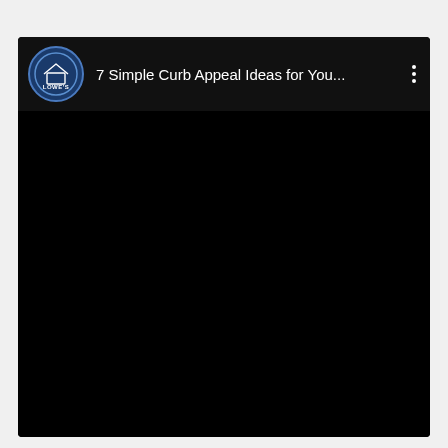[Figure (screenshot): A YouTube or video app screenshot showing a dark-themed video player with a black video area. At the top is a header bar with the Lowe's circular logo (dark blue with house icon) on the left, followed by the title '7 Simple Curb Appeal Ideas for You...' in white text, and a vertical three-dot menu icon on the right. The main video area is entirely black.]